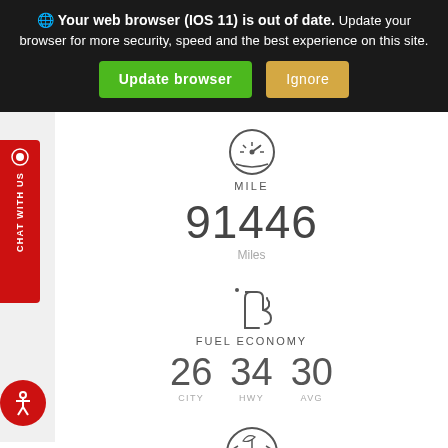Your web browser (IOS 11) is out of date. Update your browser for more security, speed and the best experience on this site.
Update browser | Ignore
[Figure (illustration): Speedometer icon representing mile/odometer reading]
MILE
91446
Miles
[Figure (illustration): Gas pump nozzle icon representing fuel economy]
FUEL ECONOMY
26 CITY  34 HWY  30 AVG
[Figure (illustration): Partial speedometer icon at bottom of page]